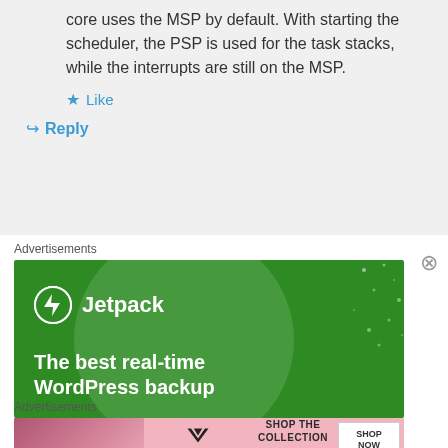core uses the MSP by default. With starting the scheduler, the PSP is used for the task stacks, while the interrupts are still on the MSP.
Like
Reply
Advertisements
[Figure (advertisement): Jetpack WordPress plugin advertisement on green background with text 'The best real-time WordPress backup']
Advertisements
[Figure (advertisement): Victoria's Secret advertisement with model, text 'SHOP THE COLLECTION', and 'SHOP NOW' button]